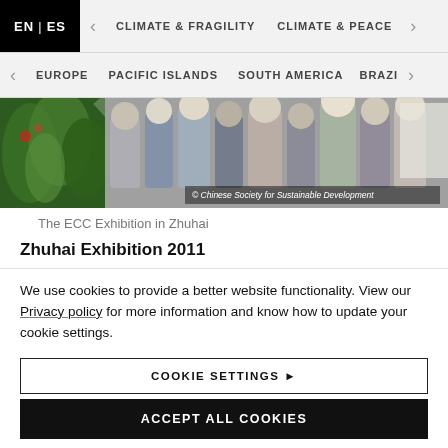EN | ES   <   CLIMATE & FRAGILITY   CLIMATE & PEACE   >
<   EUROPE   PACIFIC ISLANDS   SOUTH AMERICA   BRAZIL   >
[Figure (photo): Photo of people at the ECC Exhibition in Zhuhai with tropical plants on the left and a crowd of attendees on the right. Caption overlay reads: © Chinese Society for Sustainable Development]
The ECC Exhibition in Zhuhai
Zhuhai Exhibition 2011
We use cookies to provide a better website functionality. View our Privacy policy for more information and know how to update your cookie settings.
COOKIE SETTINGS ▶
ACCEPT ALL COOKIES